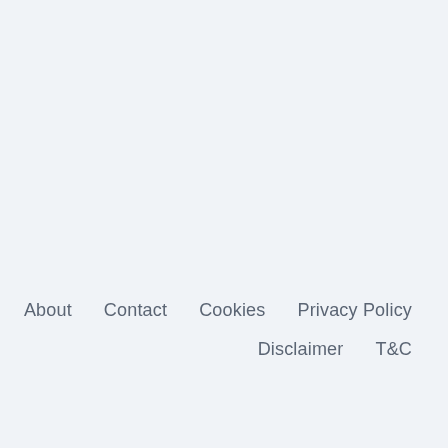About   Contact   Cookies   Privacy Policy   Disclaimer   T&C